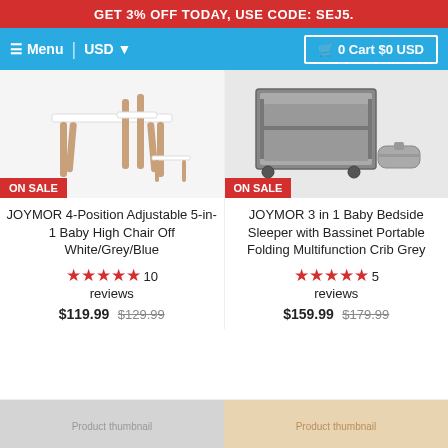GET 3% OFF TODAY, USE CODE: SEJ5.
≡ Menu | USD ▼ | 🛒 0 Cart $0 USD
[Figure (photo): JOYMOR 4-Position Adjustable 5-in-1 Baby High Chair product photo with ON SALE badge]
JOYMOR 4-Position Adjustable 5-in-1 Baby High Chair Off White/Grey/Blue
★★★★★ 10 reviews
$119.99 $129.99
[Figure (photo): JOYMOR 3 in 1 Baby Bedside Sleeper product photo with ON SALE badge]
JOYMOR 3 in 1 Baby Bedside Sleeper with Bassinet Portable Folding Multifunction Crib Grey
★★★★★ 5 reviews
$159.99 $179.99